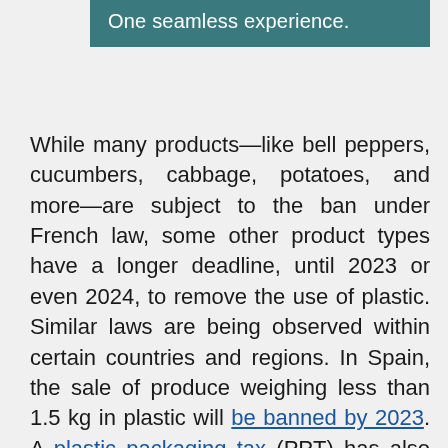[Figure (other): Teal/dark green banner with white text reading 'One seamless experience.']
While many products—like bell peppers, cucumbers, cabbage, potatoes, and more—are subject to the ban under French law, some other product types have a longer deadline, until 2023 or even 2024, to remove the use of plastic. Similar laws are being observed within certain countries and regions. In Spain, the sale of produce weighing less than 1.5 kg in plastic will be banned by 2023. A plastic packaging tax (PPT) has also been implemented in Europe and is under review for implementation by several countries including the U.K., Italy, and the Netherlands.